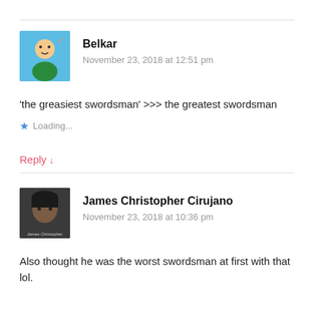Belkar
November 23, 2018 at 12:51 pm
'the greasiest swordsman' >>> the greatest swordsman
Loading...
Reply ↓
James Christopher Cirujano
November 23, 2018 at 10:36 pm
Also thought he was the worst swordsman at first with that lol.